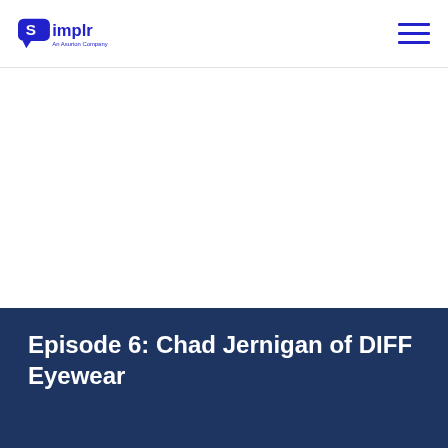Simplr — An Asurion Company
Episode 6: Chad Jernigan of DIFF Eyewear